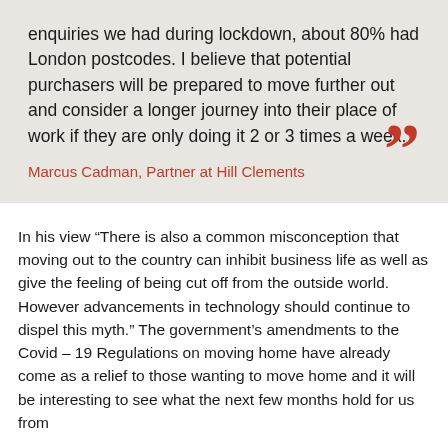enquiries we had during lockdown, about 80% had London postcodes. I believe that potential purchasers will be prepared to move further out and consider a longer journey into their place of work if they are only doing it 2 or 3 times a week.
Marcus Cadman, Partner at Hill Clements
In his view “There is also a common misconception that moving out to the country can inhibit business life as well as give the feeling of being cut off from the outside world. However advancements in technology should continue to dispel this myth.” The government’s amendments to the Covid – 19 Regulations on moving home have already come as a relief to those wanting to move home and it will be interesting to see what the next few months hold for us from